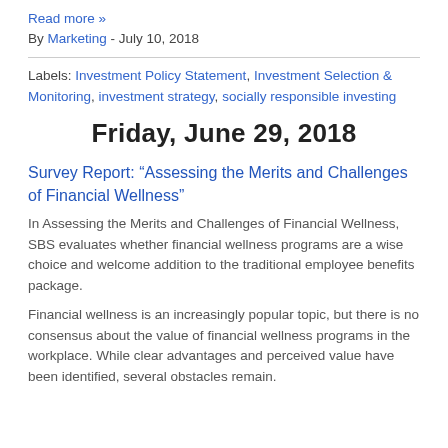Read more »
By Marketing - July 10, 2018
Labels: Investment Policy Statement, Investment Selection & Monitoring, investment strategy, socially responsible investing
Friday, June 29, 2018
Survey Report: “Assessing the Merits and Challenges of Financial Wellness”
In Assessing the Merits and Challenges of Financial Wellness, SBS evaluates whether financial wellness programs are a wise choice and welcome addition to the traditional employee benefits package.
Financial wellness is an increasingly popular topic, but there is no consensus about the value of financial wellness programs in the workplace. While clear advantages and perceived value have been identified, several obstacles remain.